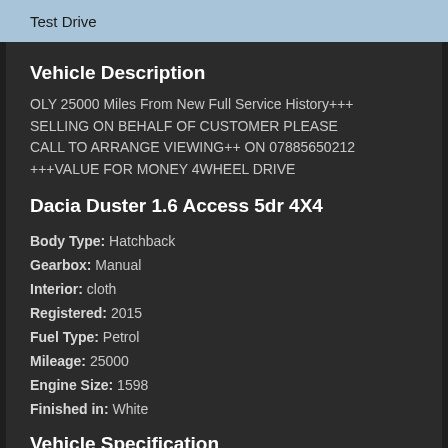Test Drive
Vehicle Description
OLY 25000 Miles From New Full Service History+++ SELLING ON BEHALF OF CUSTOMER PLEASE CALL TO ARRANGE VIEWING++ ON 07885650212 +++VALUE FOR MONEY 4WHEEL DRIVE
Dacia Duster 1.6 Access 5dr 4X4
Body Type: Hatchback
Gearbox: Manual
Interior: cloth
Registered: 2015
Fuel Type: Petrol
Mileage: 25000
Engine Size: 1598
Finished in: White
Vehicle Specification
Roof Rail...